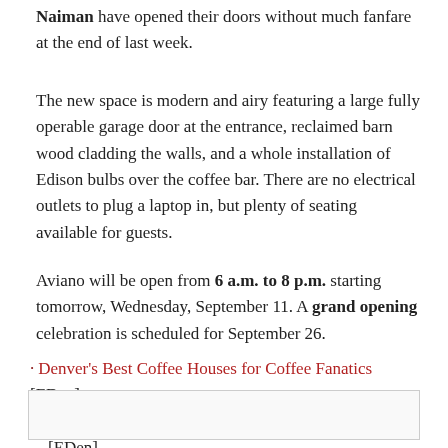Naiman have opened their doors without much fanfare at the end of last week.
The new space is modern and airy featuring a large fully operable garage door at the entrance, reclaimed barn wood cladding the walls, and a whole installation of Edison bulbs over the coffee bar. There are no electrical outlets to plug a laptop in, but plenty of seating available for guests.
Aviano will be open from 6 a.m. to 8 p.m. starting tomorrow, Wednesday, September 11. A grand opening celebration is scheduled for September 26.
Denver's Best Coffee Houses for Coffee Fanatics [EDen]
Denver's Most Anticipated Fall Restaurant Openings [EDen]